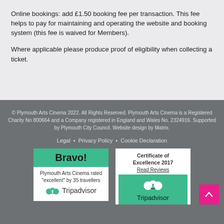Online bookings: add £1.50 booking fee per transaction. This fee helps to pay for maintaining and operating the website and booking system (this fee is waived for Members).
Where applicable please produce proof of eligibility when collecting a ticket.
© Plymouth Arts Cinema 2022. All Rights Reserved. Plymouth Arts Cinema is a Registered Charity No 800664 and a Company registered in England and Wales No. 2324916. Supported by Plymouth City Council. Website design by Matrix.
Legal • Privacy Policy • Cookie Declaration
[Figure (logo): TripAdvisor Bravo badge: green header with 'Bravo!' text, white body with 'Plymouth Arts Cinema rated "excellent" by 35 travellers', TripAdvisor owl logo and text]
[Figure (logo): TripAdvisor Certificate of Excellence 2017 badge with 'Read Reviews' link, green section with TripAdvisor owl logo and Tripadvisor text]